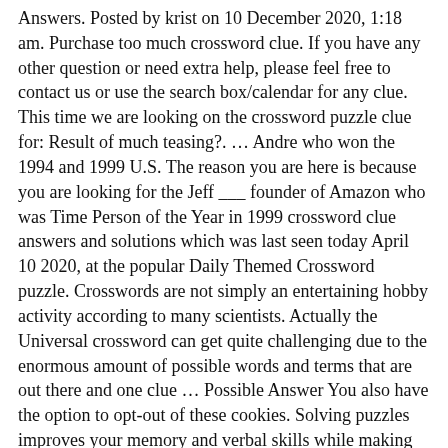Answers. Posted by krist on 10 December 2020, 1:18 am. Purchase too much crossword clue. If you have any other question or need extra help, please feel free to contact us or use the search box/calendar for any clue. This time we are looking on the crossword puzzle clue for: Result of much teasing?. … Andre who won the 1994 and 1999 U.S. The reason you are here is because you are looking for the Jeff ___ founder of Amazon who was Time Person of the Year in 1999 crossword clue answers and solutions which was last seen today April 10 2020, at the popular Daily Themed Crossword puzzle. Crosswords are not simply an entertaining hobby activity according to many scientists. Actually the Universal crossword can get quite challenging due to the enormous amount of possible words and terms that are out there and one clue … Possible Answer You also have the option to opt-out of these cookies. Solving puzzles improves your memory and verbal skills while making you solve problems and focus your thinking. This website uses cookies to improve your experience while you navigate through the website. Here are all the Much of granola crossword clue answers and solutions for December 6 2020 Newsday Crossword. crossword clue answers, solutions for the popular game Daily Pop Crosswords. We have shared below Much of Mali crossword clue. We provide the likeliest answers for every crossword clue. If you're sure you don't want to work the puzzle, go ahead and scroll down to see them. Much of the time is a crossword clue for which we have 1 possible answer in our database. Singer/songwriter Aimee who composed much of the